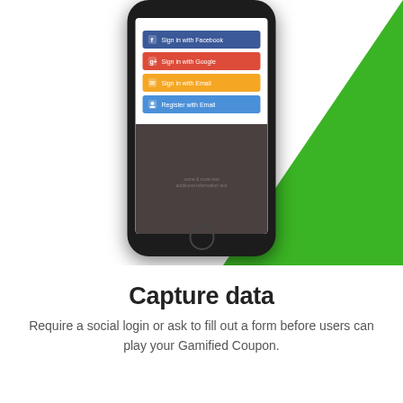[Figure (screenshot): Smartphone displaying a social login screen with buttons: Sign in with Facebook (blue), Sign in with Google (red), Sign in with Email (orange), Register with Email (blue). The phone is positioned over a green triangle background element.]
Capture data
Require a social login or ask to fill out a form before users can play your Gamified Coupon.
[Figure (illustration): Bottom section showing a smartphone with PetShop app and spin again screen, surrounded by orange arrows pointing outward, with email envelope icon on the left and speech bubble icon on the right.]